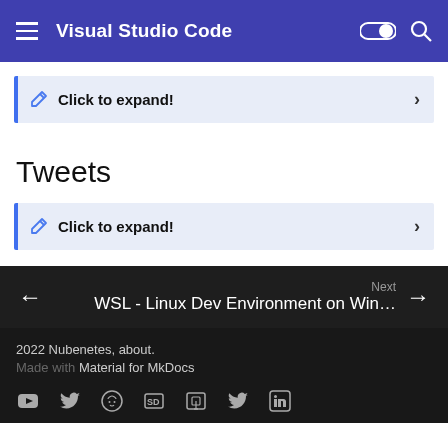Visual Studio Code
Click to expand!
Tweets
Click to expand!
Next
WSL - Linux Dev Environment on Win…
2022 Nubenetes, about.
Made with Material for MkDocs